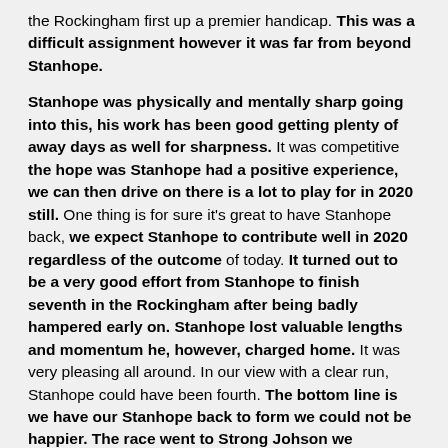the Rockingham first up a premier handicap. This was a difficult assignment however it was far from beyond Stanhope.
Stanhope was physically and mentally sharp going into this, his work has been good getting plenty of away days as well for sharpness. It was competitive the hope was Stanhope had a positive experience, we can then drive on there is a lot to play for in 2020 still. One thing is for sure it's great to have Stanhope back, we expect Stanhope to contribute well in 2020 regardless of the outcome of today. It turned out to be a very good effort from Stanhope to finish seventh in the Rockingham after being badly hampered early on. Stanhope lost valuable lengths and momentum he, however, charged home. It was very pleasing all around. In our view with a clear run, Stanhope could have been fourth. The bottom line is we have our Stanhope back to form we could not be happier. The race went to Strong Johson we congratulate the Kieran Cotter team on a brilliant victory in a thrilling race.
There is no time to look back for now. We face a really busy period. This week Mokhalad will race at Bellewstown on Thursday. As it stands Stanhope, Lottieloveheart and Trading